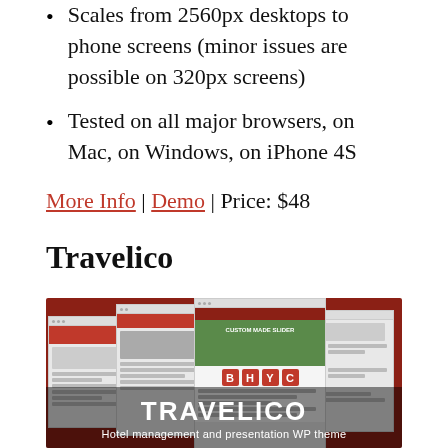Scales from 2560px desktops to phone screens (minor issues are possible on 320px screens)
Tested on all major browsers, on Mac, on Windows, on iPhone 4S
More Info | Demo | Price: $48
Travelico
[Figure (screenshot): Screenshot of the Travelico WordPress theme showing multiple browser windows with hotel management interface on a dark red background, with overlay text reading 'TRAVELICO – Hotel management and presentation WP theme']